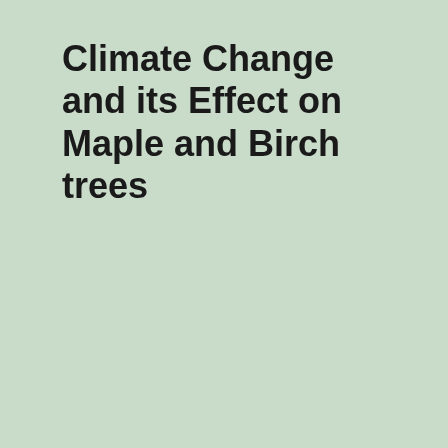Climate Change and its Effect on Maple and Birch trees